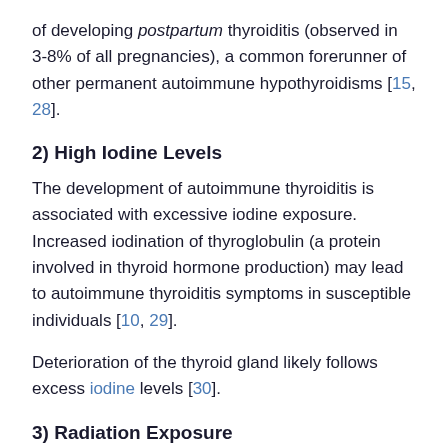of developing postpartum thyroiditis (observed in 3-8% of all pregnancies), a common forerunner of other permanent autoimmune hypothyroidisms [15, 28].
2) High Iodine Levels
The development of autoimmune thyroiditis is associated with excessive iodine exposure. Increased iodination of thyroglobulin (a protein involved in thyroid hormone production) may lead to autoimmune thyroiditis symptoms in susceptible individuals [10, 29].
Deterioration of the thyroid gland likely follows excess iodine levels [30].
3) Radiation Exposure
The prevalence of thyroid antibodies increased after